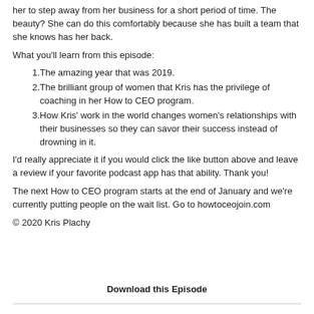her to step away from her business for a short period of time. The beauty? She can do this comfortably because she has built a team that she knows has her back.
What you'll learn from this episode:
The amazing year that was 2019.
The brilliant group of women that Kris has the privilege of coaching in her How to CEO program.
How Kris' work in the world changes women's relationships with their businesses so they can savor their success instead of drowning in it.
I'd really appreciate it if you would click the like button above and leave a review if your favorite podcast app has that ability. Thank you!
The next How to CEO program starts at the end of January and we're currently putting people on the wait list. Go to howtoceojoin.com
© 2020 Kris Plachy
Download this Episode